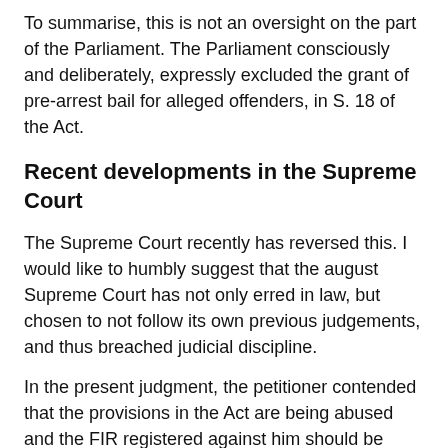To summarise, this is not an oversight on the part of the Parliament. The Parliament consciously and deliberately, expressly excluded the grant of pre-arrest bail for alleged offenders, in S. 18 of the Act.
Recent developments in the Supreme Court
The Supreme Court recently has reversed this. I would like to humbly suggest that the august Supreme Court has not only erred in law, but chosen to not follow its own previous judgements, and thus breached judicial discipline.
In the present judgment, the petitioner contended that the provisions in the Act are being abused and the FIR registered against him should be quashed. Quashing the case against the petitioner, the court acknowledged the abuse of law of arrest and clarified that there is no absolute bar against grant of anticipatory bail under the Act. It then directed that no arrest can be made under the Act before approval of designated authorities. A provision of preliminary enquiry to be conducted by a Deputy Superintendent of Police (DSP) to ensure the allegations are not frivolous or motivated has also been introduced through the judgment.